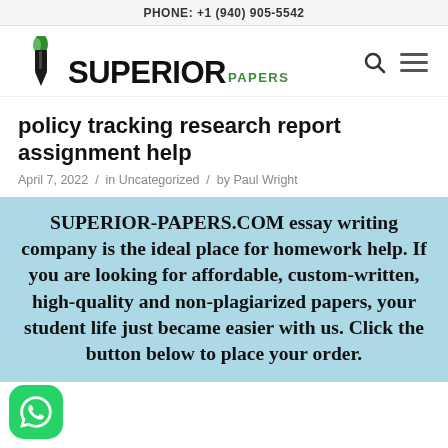PHONE: +1 (940) 905-5542
[Figure (logo): Superior Papers logo with torch/pen icon, 'SUPERIOR' in bold black and 'PAPERS' in green, with search and hamburger menu icons]
policy tracking research report assignment help
April 7, 2022 / in Uncategorized / by Paul Wright
SUPERIOR-PAPERS.COM essay writing company is the ideal place for homework help. If you are looking for affordable, custom-written, high-quality and non-plagiarized papers, your student life just became easier with us. Click the button below to place your order.